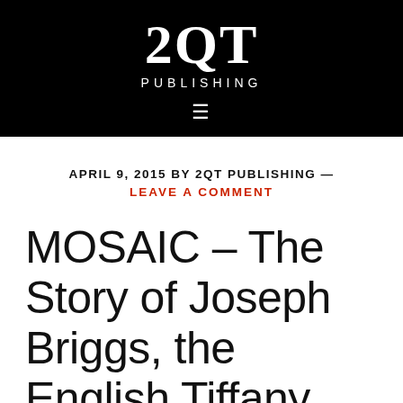[Figure (logo): 2QT Publishing logo in white on black background, with large stylized '2QT' text and 'PUBLISHING' below in spaced capitals]
≡
APRIL 9, 2015 BY 2QT PUBLISHING — LEAVE A COMMENT
MOSAIC – The Story of Joseph Briggs, the English Tiffany